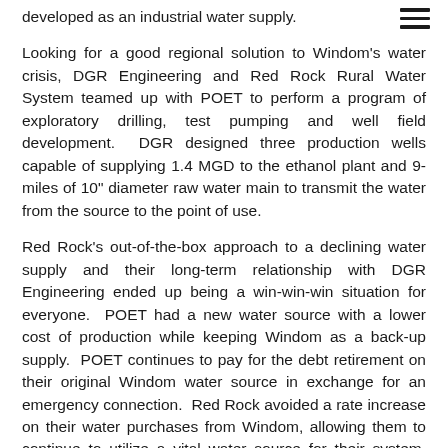developed as an industrial water supply.
Looking for a good regional solution to Windom's water crisis, DGR Engineering and Red Rock Rural Water System teamed up with POET to perform a program of exploratory drilling, test pumping and well field development.  DGR designed three production wells capable of supplying 1.4 MGD to the ethanol plant and 9-miles of 10" diameter raw water main to transmit the water from the source to the point of use.
Red Rock's out-of-the-box approach to a declining water supply and their long-term relationship with DGR Engineering ended up being a win-win-win situation for everyone.  POET had a new water source with a lower cost of production while keeping Windom as a back-up supply.  POET continues to pay for the debt retirement on their original Windom water source in exchange for an emergency connection.  Red Rock avoided a rate increase on their water purchases from Windom, allowing them to continue to utilize a vital water source for their system. Windom was able to reduce their water use by 1/3 and cancelled their plans for a new RO water treatment plant, saving the residents the cost of a rate increase.  The entire project was Addition by Subtraction.